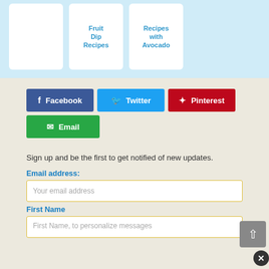[Figure (screenshot): Top light blue section with three white cards. Second card shows 'Fruit Dip Recipes' and third card shows 'Recipes with Avocado' in blue text.]
[Figure (infographic): Social sharing buttons: Facebook (dark blue), Twitter (light blue), Pinterest (red), Email (green)]
Sign up and be the first to get notified of new updates.
Email address:
Your email address
First Name
First Name, to personalize messages